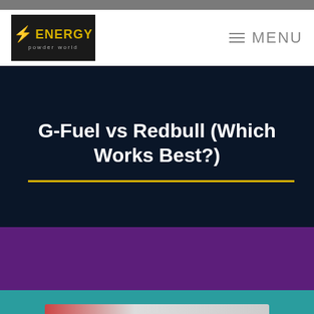[Figure (logo): Energy Powder World logo — black background with yellow lightning bolt and ENERGY text in yellow, 'powder world' subtitle in grey]
☰  MENU
G-Fuel vs Redbull (Which Works Best?)
[Figure (photo): Article preview image partially visible at the bottom — appears to show energy drink products on a teal background]